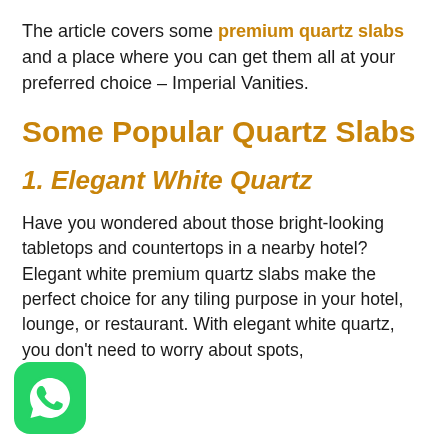The article covers some premium quartz slabs and a place where you can get them all at your preferred choice – Imperial Vanities.
Some Popular Quartz Slabs
1. Elegant White Quartz
Have you wondered about those bright-looking tabletops and countertops in a nearby hotel? Elegant white premium quartz slabs make the perfect choice for any tiling purpose in your hotel, lounge, or restaurant. With elegant white quartz, you don't need to worry about spots,
[Figure (logo): WhatsApp logo icon — green rounded square with white phone handset symbol]